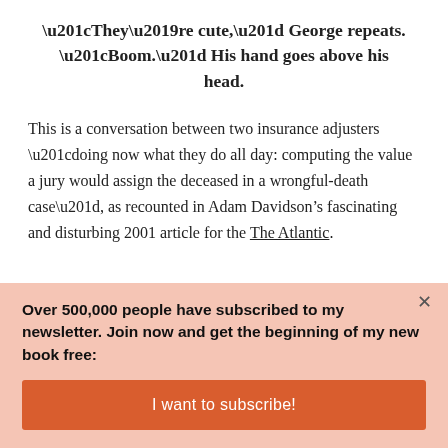“They’re cute,” George repeats. “Boom.” His hand goes above his head.
This is a conversation between two insurance adjusters “doing now what they do all day: computing the value a jury would assign the deceased in a wrongful-death case”, as recounted in Adam Davidson’s fascinating and disturbing 2001 article for the The Atlantic.
Over 500,000 people have subscribed to my newsletter. Join now and get the beginning of my new book free:
I want to subscribe!